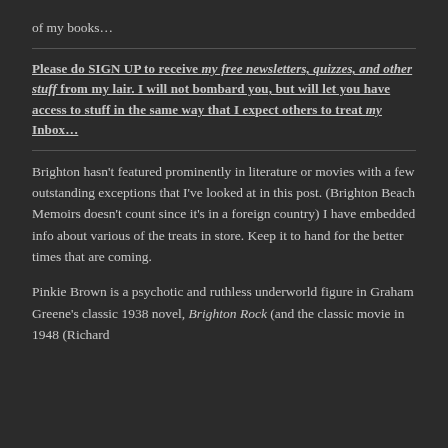of my books…
Please do SIGN UP to receive my free newsletters, quizzes, and other stuff from my lair. I will not bombard you, but will let you have access to stuff in the same way that I expect others to treat my Inbox…
Brighton hasn't featured prominently in literature or movies with a few outstanding exceptions that I've looked at in this post. (Brighton Beach Memoirs doesn't count since it's in a foreign country) I have embedded info about various of the treats in store. Keep it to hand for the better times that are coming.
Pinkie Brown is a psychotic and ruthless underworld figure in Graham Greene's classic 1938 novel, Brighton Rock (and the classic movie in 1948 (Richard